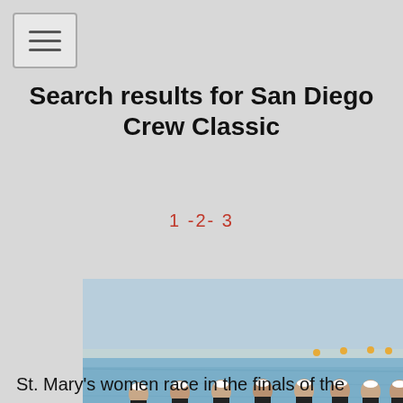☰ (menu button)
Search results for San Diego Crew Classic
1 -2- 3
[Figure (photo): A women's rowing team racing in a long rowing shell on blue water at the San Diego Crew Classic. Eight rowers wearing white visors and dark tank tops are visible. A red and white symbol is visible on the bow. Photo credit: Phillip Colla / Oceanlight.com]
St. Mary's women race in the finals of the